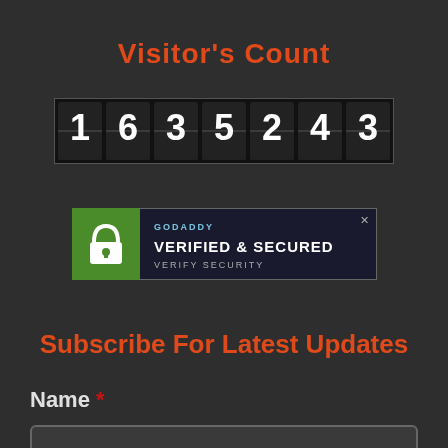Visitor's Count
[Figure (other): Mechanical odometer-style visitor counter showing the number 1635243 in white digits on dark background segments]
[Figure (other): GoDaddy Verified & Secured badge with green shield/lock icon on left, text GODADDY, VERIFIED & SECURED, VERIFY SECURITY on dark blue background]
Subscribe For Latest Updates
Name *